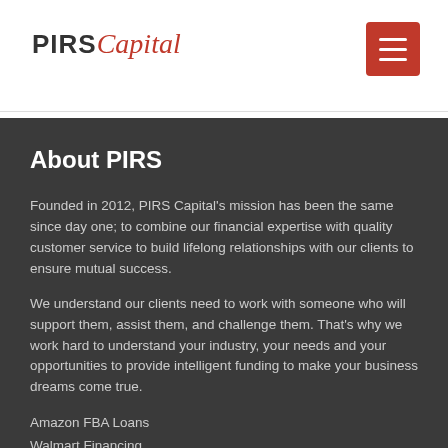PIRS Capital
About PIRS
Founded in 2012, PIRS Capital's mission has been the same since day one; to combine our financial expertise with quality customer service to build lifelong relationships with our clients to ensure mutual success.
We understand our clients need to work with someone who will support them, assist them, and challenge them. That's why we work hard to understand your industry, your needs and your opportunities to provide intelligent funding to make your business dreams come true.
Amazon FBA Loans
Walmart Financing
Merchant Loans